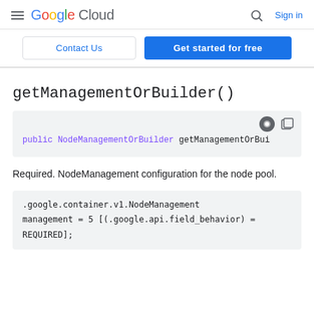Google Cloud  Sign in
Contact Us  Get started for free
getManagementOrBuilder()
[Figure (screenshot): Code block showing: public NodeManagementOrBuilder getManagementOrBui]
Required. NodeManagement configuration for the node pool.
.google.container.v1.NodeManagement management = 5 [(.google.api.field_behavior) = REQUIRED];